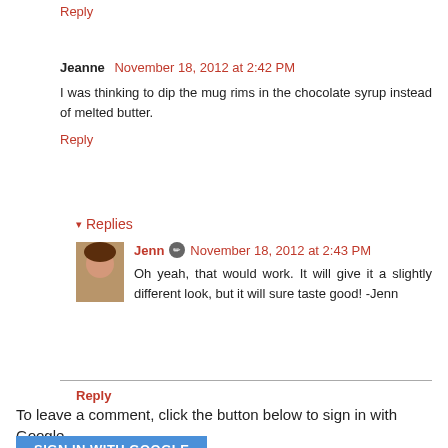Reply
Jeanne  November 18, 2012 at 2:42 PM
I was thinking to dip the mug rims in the chocolate syrup instead of melted butter.
Reply
▾ Replies
Jenn  November 18, 2012 at 2:43 PM
Oh yeah, that would work. It will give it a slightly different look, but it will sure taste good! -Jenn
Reply
To leave a comment, click the button below to sign in with Google.
SIGN IN WITH GOOGLE